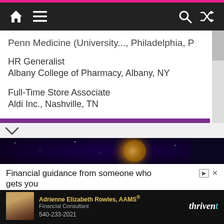Navigation bar with home, menu, search, and shuffle icons
Penn Medicine (University..., Philadelphia, P
HR Generalist
Albany College of Pharmacy, Albany, NY
Full-Time Store Associate
Aldi Inc., Nashville, TN
View More Jobs
[Figure (screenshot): Cosmic/space themed banner image with planet glow]
[Figure (screenshot): Thrivent financial advertisement: Financial guidance from someone who gets you. Adrienne Elizabeth Rowles, AAMS, Financial Consultant, 540-233-2021]